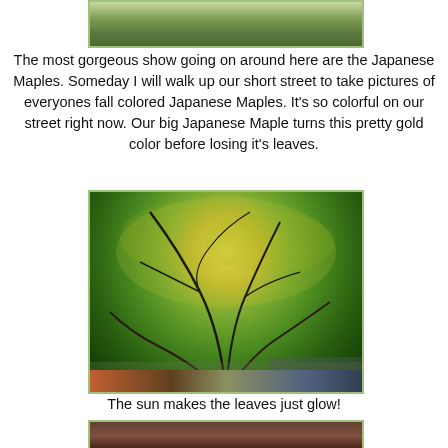[Figure (photo): Partial view of Japanese Maple tree canopy with golden-green fall foliage, top of page]
The most gorgeous show going on around here are the Japanese Maples.  Someday I will walk up our short street to take pictures of everyones fall colored Japanese Maples.  It's so colorful on our street right now.  Our big Japanese Maple turns this pretty gold color before losing it's leaves.
[Figure (photo): Japanese Maple tree canopy photographed from below, showing golden-yellow and green fall leaves against the sky, with branches visible and a rooftop in the lower right corner]
The sun makes the leaves just glow!
[Figure (photo): Partial view at bottom of page, showing what appears to be another photo beginning]